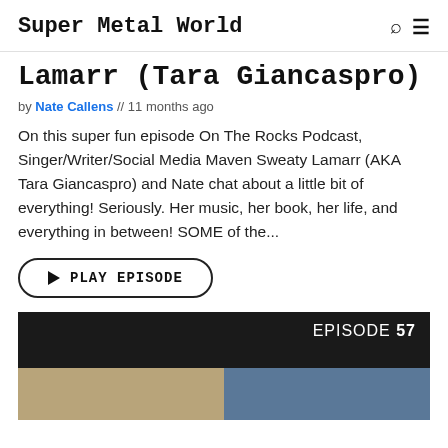Super Metal World
Lamarr (Tara Giancaspro)
by Nate Callens // 11 months ago
On this super fun episode On The Rocks Podcast, Singer/Writer/Social Media Maven Sweaty Lamarr (AKA Tara Giancaspro) and Nate chat about a little bit of everything! Seriously. Her music, her book, her life, and everything in between! SOME of the...
PLAY EPISODE
[Figure (photo): Dark card showing 'EPISODE 57' label and a photo of two people side by side in a video call screenshot]